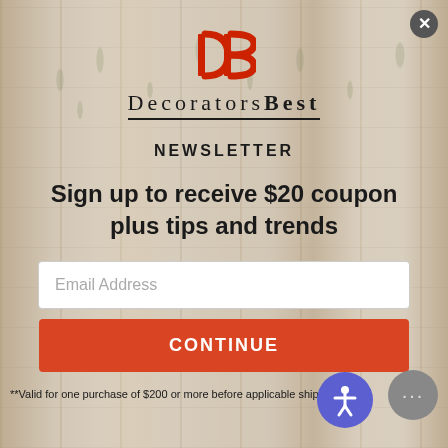[Figure (logo): DecoratorsBest logo: red 'db' monogram above the brand name 'DECORATORS BEST' in serif font with underline]
NEWSLETTER
Sign up to receive $20 coupon plus tips and trends
Email Address
CONTINUE
**Valid for one purchase of $200 or more before applicable shipping